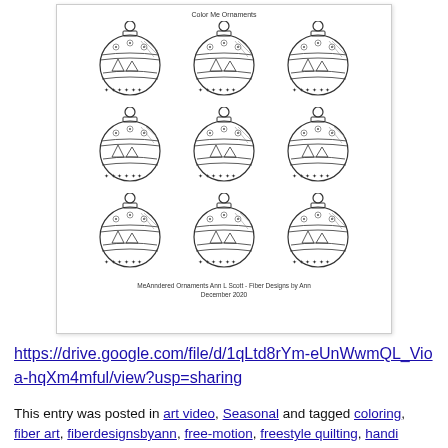[Figure (illustration): A coloring page showing 9 decorative Christmas ornaments arranged in a 3x3 grid. Each ornament features intricate zentangle-style patterns including spirals, trees, dots, crosshatches, and other designs. Titled 'Color Me Ornaments' at the top, with caption 'MeAnndered Ornaments Ann L Scott - Fiber Designs by Ann / December 2020' at the bottom.]
https://drive.google.com/file/d/1qLtd8rYm-eUnWwmQL_Vioa-hqXm4mful/view?usp=sharing
This entry was posted in art video, Seasonal and tagged coloring, fiber art, fiberdesignsbyann, free-motion, freestyle quilting, handi quilter, sweet sixteen, ornaments, quilting video demo, an...